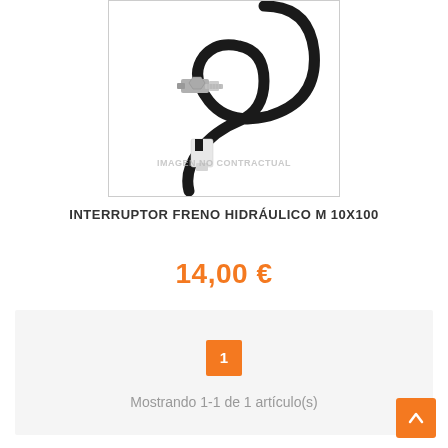[Figure (photo): A hydraulic brake switch (interruptor) with a black cable and metal connector on one end and a white plastic connector on the other. Watermark text reads IMAGEN NO CONTRACTUAL.]
INTERRUPTOR FRENO HIDRÁULICO M 10X100
14,00 €
1
Mostrando 1-1 de 1 artículo(s)